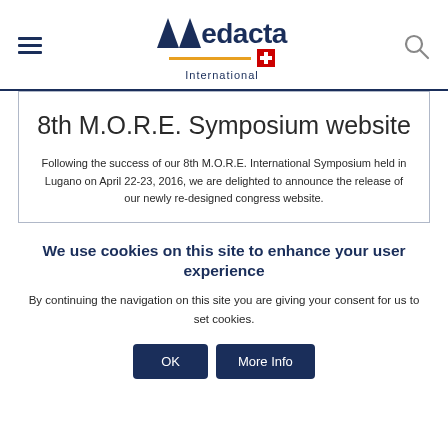Medacta International
8th M.O.R.E. Symposium website
Following the success of our 8th M.O.R.E. International Symposium held in Lugano on April 22-23, 2016, we are delighted to announce the release of our newly re-designed congress website.
We use cookies on this site to enhance your user experience
By continuing the navigation on this site you are giving your consent for us to set cookies.